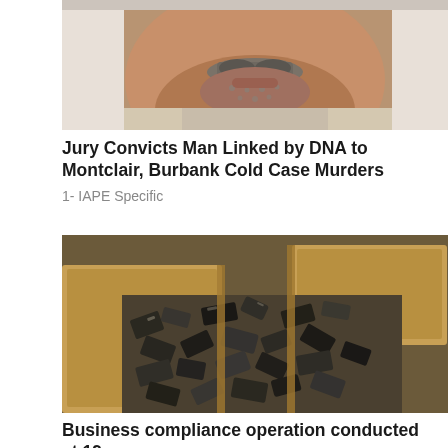[Figure (photo): Close-up mugshot photo of an older man's face from nose down, showing a grey mustache and beard, wearing a light-colored shirt or jacket.]
Jury Convicts Man Linked by DNA to Montclair, Burbank Cold Case Murders
1- IAPE Specific
[Figure (photo): Photo of cardboard boxes overflowing with numerous piled metal gun parts and handgun frames, photographed from above.]
Business compliance operation conducted at 19